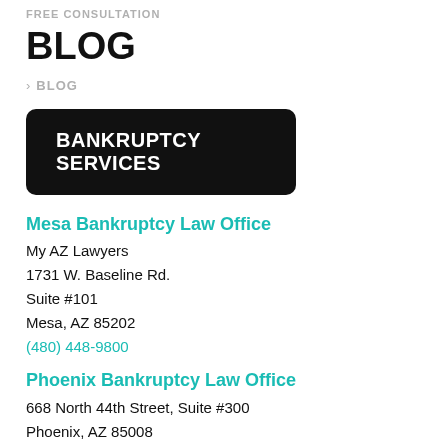FREE CONSULTATION
BLOG
> BLOG
BANKRUPTCY SERVICES
Mesa Bankruptcy Law Office
My AZ Lawyers
1731 W. Baseline Rd.
Suite #101
Mesa, AZ 85202
(480) 448-9800
Phoenix Bankruptcy Law Office
668 North 44th Street, Suite #300
Phoenix, AZ 85008
(480) 833-8000
Glendale Bankruptcy Law Office
My AZ La...